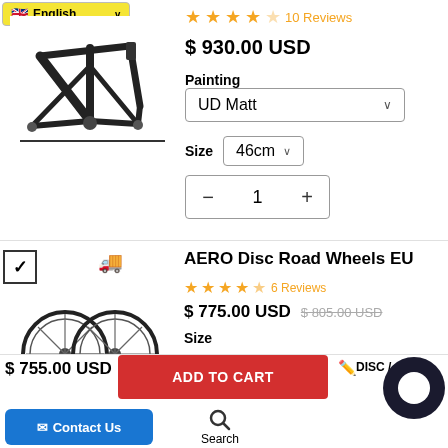English
[Figure (photo): Carbon road bike frame in black/dark color on white background]
10 Reviews
$ 930.00 USD
Painting
UD Matt
Size
46cm
1
[Figure (photo): Two carbon disc road bicycle wheels side by side]
AERO Disc Road Wheels EU
6 Reviews
$ 775.00 USD
$ 805.00 USD
Size
$ 755.00 USD
ADD TO CART
DISC /
Contact Us
Search